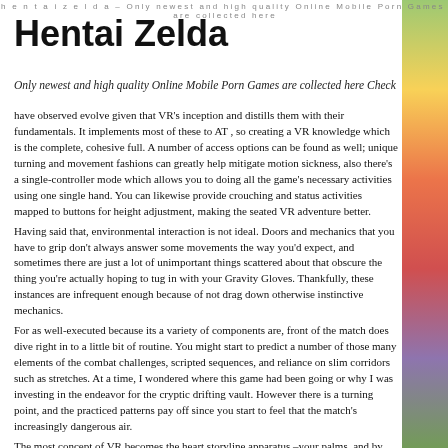h e n t a i z e l d a – O n l y n e w e s t a n d h i g h q u a l i t y O n l i n e M o b i l e P o r n G a m e s a r e c o l l e c t e d h e r e
Hentai Zelda
Only newest and high quality Online Mobile Porn Games are collected here Check
have observed evolve given that VR's inception and distills them with their fundamentals. It implements most of these to AT , so creating a VR knowledge which is the complete, cohesive full. A number of access options can be found as well; unique turning and movement fashions can greatly help mitigate motion sickness, also there's a single-controller mode which allows you to doing all the game's necessary activities using one single hand. You can likewise provide crouching and status activities mapped to buttons for height adjustment, making the seated VR adventure better.
Having said that, environmental interaction is not ideal. Doors and mechanics that you have to grip don't always answer some movements the way you'd expect, and sometimes there are just a lot of unimportant things scattered about that obscure the thing you're actually hoping to tug in with your Gravity Gloves. Thankfully, these instances are infrequent enough because of not drag down otherwise instinctive mechanics.
For as well-executed because its a variety of components are, front of the match does dive right in to a little bit of routine. You might start to predict a number of those many elements of the combat challenges, scripted sequences, and reliance on slim corridors such as stretches. At a time, I wondered where this game had been going or why I was investing in the endeavor for the cryptic drifting vault. However there is a turning point, and the practiced patterns pay off since you start to feel that the match's increasingly dangerous air.
The most concept of VR becomes the heart storyline apparatus –your palms, and by expansion, lara croft hentai game's actions, are fundamental for the delivery of its very best minutes.
You're going to be struck by the awesome sights across the journey across City 17, the delight of fire-fights that ramp upward in intensity whilst acting precisely the VR-specific mechanisms, and the excruciating suspense of several degrees. Yet all those balmy in contrast with this final hour, when lara croft hentai game solidifies it self because the